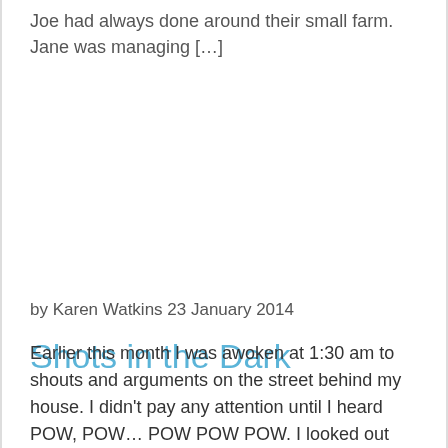Joe had always done around their small farm. Jane was managing […]
Shots in the Dark
by Karen Watkins 23 January 2014
Earlier this month I was awoken at 1:30 am to shouts and arguments on the street behind my house. I didn't pay any attention until I heard POW, POW… POW POW POW. I looked out the back window and could see